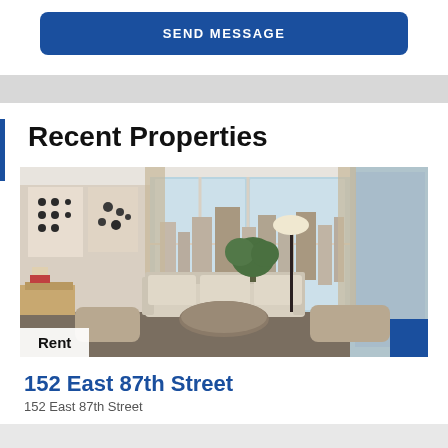SEND MESSAGE
Recent Properties
[Figure (photo): Interior photo of a modern apartment living room with large windows overlooking New York City skyline, featuring a sofa, armchairs, round coffee table, floor lamp, and potted plant. A 'Rent' badge appears at the bottom left and a blue square at bottom right.]
152 East 87th Street
152 East 87th Street